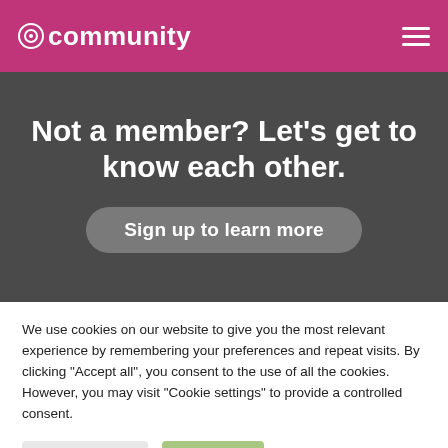community
Not a member? Let’s get to know each other.
Sign up to learn more
We use cookies on our website to give you the most relevant experience by remembering your preferences and repeat visits. By clicking “Accept all”, you consent to the use of all the cookies. However, you may visit “Cookie settings” to provide a controlled consent.
Cookie settings
Accept all